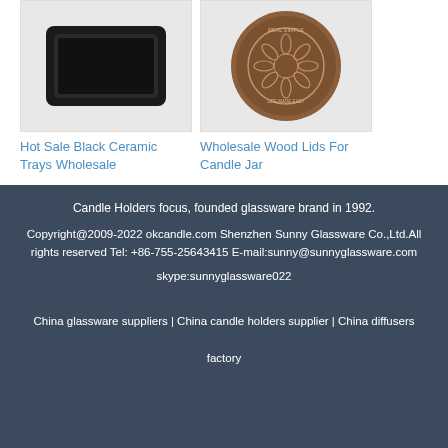[Figure (photo): Black ceramic square tray product photo on white background]
[Figure (photo): Round brown wood lid for candle jar with engraved floral pattern and 'REAL SIMPLE' text]
Hot Sale Black Ceramic Trays Wholesale
Wholesale Wood Lids For Candle Jar
Candle Holders focus, founded glassware brand in 1992.

Copyright@2009-2022 okcandle.com Shenzhen Sunny Glassware Co.,Ltd.All rights reserved Tel: +86-755-25643415 E-mail:sunny@sunnyglassware.com skype:sunnyglassware022

China glassware suppliers | China candle holders supplier | China diffusers factory